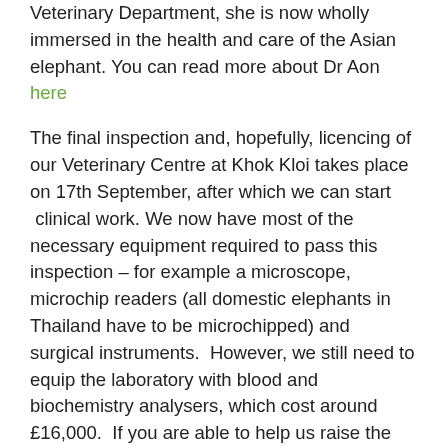Veterinary Department, she is now wholly immersed in the health and care of the Asian elephant. You can read more about Dr Aon here
The final inspection and, hopefully, licencing of our Veterinary Centre at Khok Kloi takes place on 17th September, after which we can start  clinical work. We now have most of the necessary equipment required to pass this inspection – for example a microscope, microchip readers (all domestic elephants in Thailand have to be microchipped) and surgical instruments.  However, we still need to equip the laboratory with blood and biochemistry analysers, which cost around £16,000.  If you are able to help us raise the money for this important equipment, please do consider making a donation.
The photos below (click on them to see the full size) show Dr Aon at work at the Krabi hospital